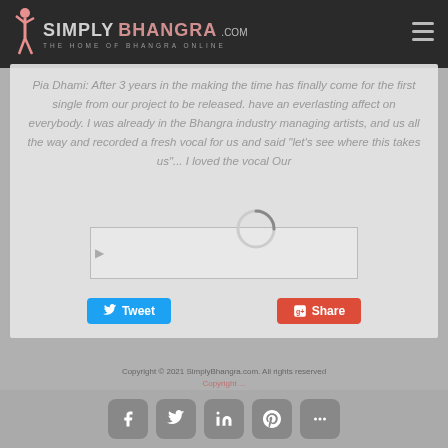[Figure (logo): Simply Bhangra .com logo with tagline 'THE HOME OF BHANGRA ONLINE' and a dancing figure silhouette on dark header bar]
Pia Dhami: After 3 years in the making the time has finally come for the first single from our project to be released. have an everlasting affect on everybody. I was already in the Bhangra industry managing artists, and us all the way and recorded a fresh vocal for us and said "let's see where this takes us"... I loved the vocal Our
[Figure (other): Loading spinner (circular arc) overlaid on a partially loaded image placeholder]
[Figure (other): Tweet button (blue Twitter bird icon) and Share button (red Google+ icon)]
Copyright © 2021 SimplyBhangra.com. All rights reserved Copyright ...
[Figure (other): Bottom social sharing icon bar with Facebook, Twitter, LinkedIn, Pinterest, and More (+) buttons in grey rounded squares]